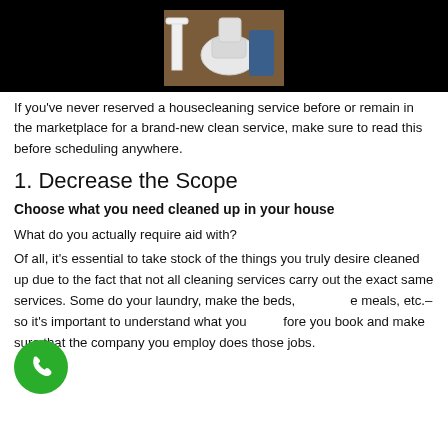[Figure (photo): Photo of a toilet installation scene with a person working, set against a black background strip]
If you've never reserved a housecleaning service before or remain in the marketplace for a brand-new clean service, make sure to read this before scheduling anywhere.
1. Decrease the Scope
Choose what you need cleaned up in your house
What do you actually require aid with?
Of all, it's essential to take stock of the things you truly desire cleaned up due to the fact that not all cleaning services carry out the exact same services. Some do your laundry, make the beds, prepare meals, etc.– so it's important to understand what you need before you book and make sure that the company you employ does those jobs.
[Figure (other): Green circular phone/call button icon]